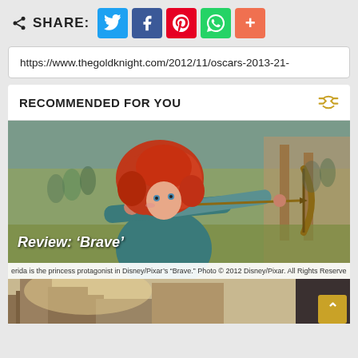SHARE: [Twitter] [Facebook] [Pinterest] [WhatsApp] [+]
https://www.thegoldknight.com/2012/11/oscars-2013-21-
RECOMMENDED FOR YOU
[Figure (photo): Merida, the princess protagonist from Disney/Pixar's 'Brave', drawing a bow and arrow in an archery scene with crowds in the background. Overlay text reads 'Review: Brave'. Caption: 'Merida is the princess protagonist in Disney/Pixar's "Brave." Photo © 2012 Disney/Pixar. All Rights Reserved']
[Figure (photo): Partial view of a second article image showing a building scene, partially visible at the bottom of the page.]